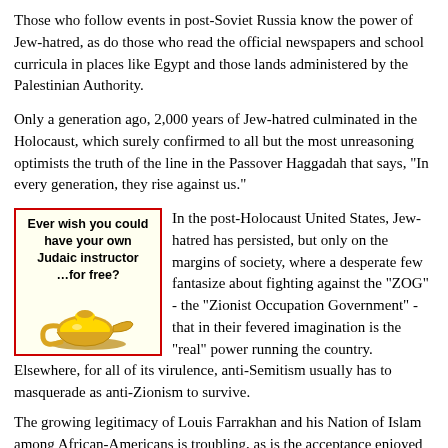Those who follow events in post-Soviet Russia know the power of Jew-hatred, as do those who read the official newspapers and school curricula in places like Egypt and those lands administered by the Palestinian Authority.
Only a generation ago, 2,000 years of Jew-hatred culminated in the Holocaust, which surely confirmed to all but the most unreasoning optimists the truth of the line in the Passover Haggadah that says, "In every generation, they rise against us."
[Figure (illustration): Advertisement box with red border on light yellow background showing text 'Ever wish you could have your own Judaic instructor …for free?' with an illustration of a golden Aladdin-style lamp.]
In the post-Holocaust United States, Jew-hatred has persisted, but only on the margins of society, where a desperate few fantasize about fighting against the "ZOG" - the "Zionist Occupation Government" - that in their fevered imagination is the "real" power running the country. Elsewhere, for all of its virulence, anti-Semitism usually has to masquerade as anti-Zionism to survive.
The growing legitimacy of Louis Farrakhan and his Nation of Islam among African-Americans is troubling, as is the acceptance enjoyed by a mainstream political figure like Pat Buchanan,despite his open embrace of anti-Semitic rhetoric and positions.